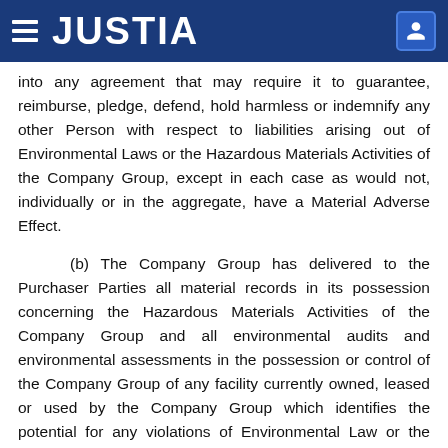JUSTIA
into any agreement that may require it to guarantee, reimburse, pledge, defend, hold harmless or indemnify any other Person with respect to liabilities arising out of Environmental Laws or the Hazardous Materials Activities of the Company Group, except in each case as would not, individually or in the aggregate, have a Material Adverse Effect.
(b) The Company Group has delivered to the Purchaser Parties all material records in its possession concerning the Hazardous Materials Activities of the Company Group and all environmental audits and environmental assessments in the possession or control of the Company Group of any facility currently owned, leased or used by the Company Group which identifies the potential for any violations of Environmental Law or the presence of Hazardous